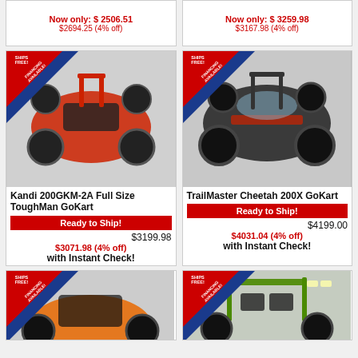Now only: $ 2506.51
$2694.25 (4% off)
Now only: $ 3259.98
$3167.98 (4% off)
[Figure (photo): Red Kandi 200GKM-2A Full Size ToughMan GoKart with Ships Free and Financing Available badge]
Kandi 200GKM-2A Full Size ToughMan GoKart
Ready to Ship!
$3199.98
$3071.98 (4% off)
with Instant Check!
[Figure (photo): TrailMaster Cheetah 200X GoKart dark colored with Ships Free and Financing Available badge]
TrailMaster Cheetah 200X GoKart
Ready to Ship!
$4199.00
$4031.04 (4% off)
with Instant Check!
[Figure (photo): Orange go-kart with Ships Free and Financing Available badge, partially visible]
[Figure (photo): Green go-kart with Ships Free and Financing Available badge, partially visible]